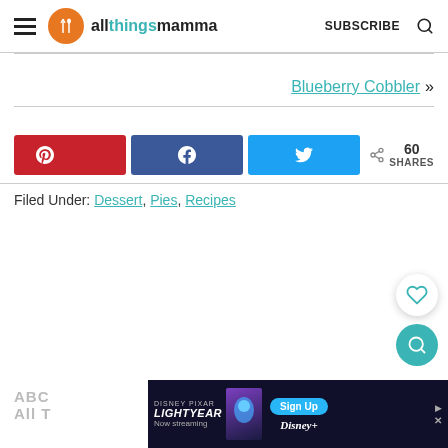allthingsmamma | SUBSCRIBE
Blueberry Cobbler »
[Figure (other): Social share buttons: Pinterest (red), Facebook (dark blue), Twitter (light blue), share count showing 60 SHARES]
Filed Under: Dessert, Pies, Recipes
[Figure (other): Floating action buttons: heart/favorite button (white circle) and search button (teal circle)]
[Figure (other): Disney Pixar Lightyear advertisement banner at bottom: Now streaming, Sign Up, Disney+ branding]